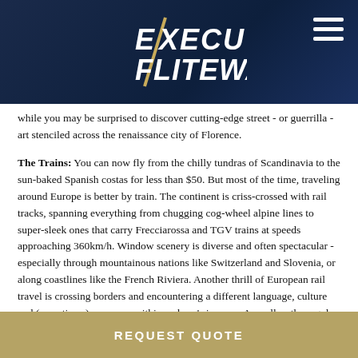[Figure (logo): Executive Fliteways logo with diagonal slash, white text on dark navy background, with hamburger menu icon in top right]
while you may be surprised to discover cutting-edge street - or guerrilla - art stenciled across the renaissance city of Florence.
The Trains: You can now fly from the chilly tundras of Scandinavia to the sun-baked Spanish costas for less than $50. But most of the time, traveling around Europe is better by train. The continent is criss-crossed with rail tracks, spanning everything from chugging cog-wheel alpine lines to super-sleek ones that carry Frecciarossa and TGV trains at speeds approaching 360km/h. Window scenery is diverse and often spectacular - especially through mountainous nations like Switzerland and Slovenia, or along coastlines like the French Riviera. Another thrill of European rail travel is crossing borders and encountering a different language, culture and (sometimes) currency, within an hour's journey. As well as the regular services, there's an raft of special trains, such as heritage steam locomotives and the Venice Simplon-Orient-Express some of whose that
REQUEST QUOTE